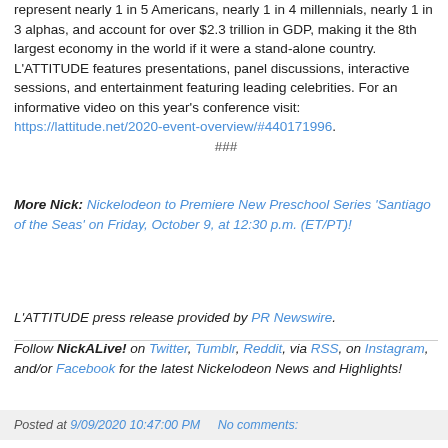represent nearly 1 in 5 Americans, nearly 1 in 4 millennials, nearly 1 in 3 alphas, and account for over $2.3 trillion in GDP, making it the 8th largest economy in the world if it were a stand-alone country. L'ATTITUDE features presentations, panel discussions, interactive sessions, and entertainment featuring leading celebrities. For an informative video on this year's conference visit: https://lattitude.net/2020-event-overview/#440171996.
###
More Nick: Nickelodeon to Premiere New Preschool Series 'Santiago of the Seas' on Friday, October 9, at 12:30 p.m. (ET/PT)!
L'ATTITUDE press release provided by PR Newswire.
Follow NickALive! on Twitter, Tumblr, Reddit, via RSS, on Instagram, and/or Facebook for the latest Nickelodeon News and Highlights!
Posted at 9/09/2020 10:47:00 PM    No comments: